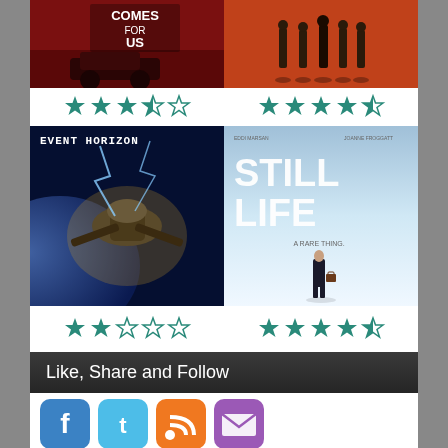[Figure (photo): Movie poster for 'It Comes For Us' with dark red background showing cars and text 'COMES FOR US']
[Figure (photo): Movie poster with orange/red background showing silhouettes of people walking]
[Figure (other): Star rating: 3.5 out of 5 stars (teal/dark cyan stars) for left movie]
[Figure (other): Star rating: 4 out of 5 stars (teal/dark cyan stars) for right movie]
[Figure (photo): Movie poster for 'Event Horizon' with dark blue/space background and spaceship]
[Figure (photo): Movie poster for 'Still Life' with light blue/white background and standing figure, text 'STILL LIFE' and 'A RARE THING']
[Figure (other): Star rating: 2 out of 5 stars (teal/dark cyan stars) for Event Horizon]
[Figure (other): Star rating: 4.5 out of 5 stars (teal/dark cyan stars) for Still Life]
Like, Share and Follow
[Figure (infographic): Social media buttons: Facebook (blue), Twitter (cyan), RSS (orange), Email/Mail (purple)]